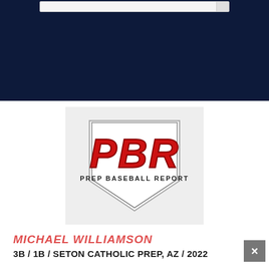[Figure (logo): PBR Prep Baseball Report logo on light gray background — home plate shape with large red bold italic PBR letters above PREP BASEBALL REPORT text]
MICHAEL WILLIAMSON
3B / 1B / SETON CATHOLIC PREP, AZ / 2022